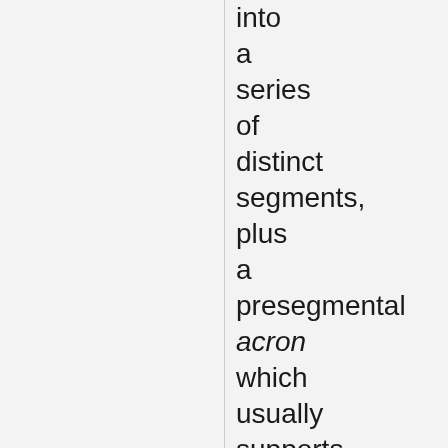into a series of distinct segments, plus a presegmental acron which usually supports compound and simple